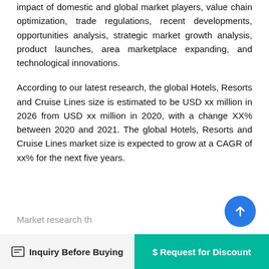impact of domestic and global market players, value chain optimization, trade regulations, recent developments, opportunities analysis, strategic market growth analysis, product launches, area marketplace expanding, and technological innovations.
According to our latest research, the global Hotels, Resorts and Cruise Lines size is estimated to be USD xx million in 2026 from USD xx million in 2020, with a change XX% between 2020 and 2021. The global Hotels, Resorts and Cruise Lines market size is expected to grow at a CAGR of xx% for the next five years.
Market research th...